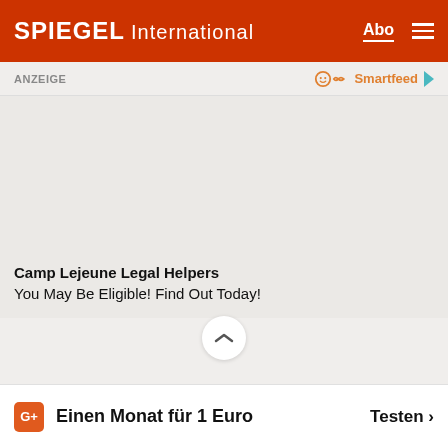SPIEGEL International  Abo ☰
ANZEIGE
[Figure (other): Smartfeed logo and arrow icon]
[Figure (other): Advertisement placeholder area (empty grey box)]
Camp Lejeune Legal Helpers
You May Be Eligible! Find Out Today!
Einen Monat für 1 Euro   Testen >